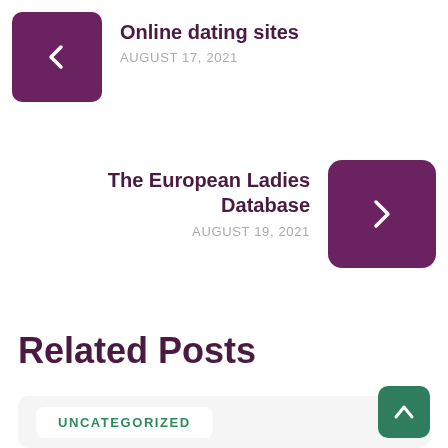Online dating sites
AUGUST 17, 2021
The European Ladies Database
AUGUST 19, 2021
Related Posts
UNCATEGORIZED